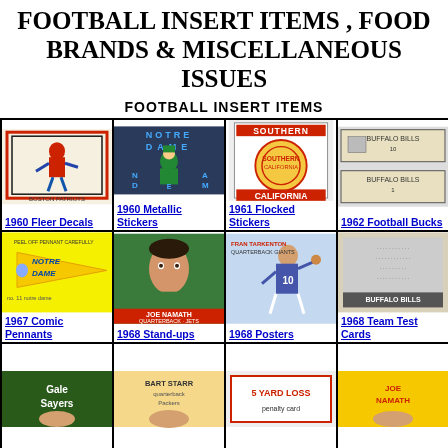FOOTBALL INSERT ITEMS , FOOD BRANDS & MISCELLANEOUS ISSUES
FOOTBALL INSERT ITEMS
[Figure (photo): 1960 Fleer Decals - Boston Patriots mascot illustration]
1960 Fleer Decals
[Figure (photo): 1960 Metallic Stickers - Notre Dame leprechaun mascot]
1960 Metallic Stickers
[Figure (photo): 1961 Flocked Stickers - Southern California]
1961 Flocked Stickers
[Figure (photo): 1962 Football Bucks - dollar bill style football cards]
1962 Football Bucks
[Figure (photo): 1967 Comic Pennants - Notre Dame pennant]
1967 Comic Pennants
[Figure (photo): 1968 Stand-ups - Joe Namath quarterback Jets]
1968 Stand-ups
[Figure (photo): 1968 Posters - Fran Tarkenton Giants]
1968 Posters
[Figure (photo): 1968 Team Test Cards - Buffalo Bills]
1968 Team Test Cards
[Figure (photo): Gale Sayers card - partial row]
[Figure (photo): Bart Starr quarterback Packers card - partial row]
[Figure (photo): 5 Yard Loss card - partial row]
[Figure (photo): Joe Namath card - partial row]